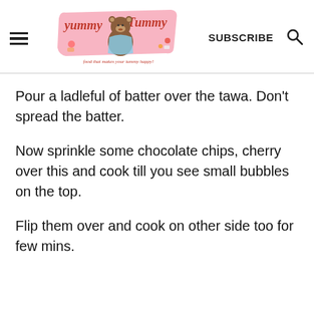Yummy Tummy — food that makes your tummy happy! | SUBSCRIBE
Pour a ladleful of batter over the tawa. Don't spread the batter.
Now sprinkle some chocolate chips, cherry over this and cook till you see small bubbles on the top.
Flip them over and cook on other side too for few mins.